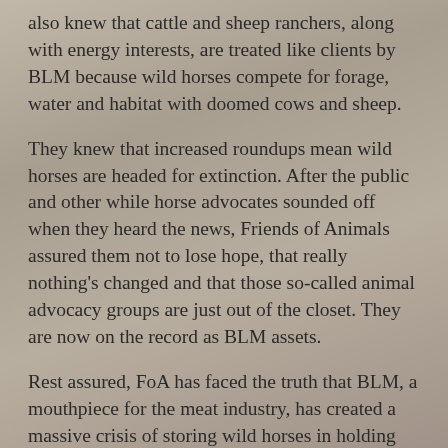also knew that cattle and sheep ranchers, along with energy interests, are treated like clients by BLM because wild horses compete for forage, water and habitat with doomed cows and sheep.
They knew that increased roundups mean wild horses are headed for extinction. After the public and other while horse advocates sounded off when they heard the news, Friends of Animals assured them not to lose hope, that really nothing's changed and that those so-called animal advocacy groups are just out of the closet. They are now on the record as BLM assets.
Rest assured, FoA has faced the truth that BLM, a mouthpiece for the meat industry, has created a massive crisis of storing wild horses in holding prisons and has high hopes for slaughtering these horses. And we will continue to fight them every step of the way.